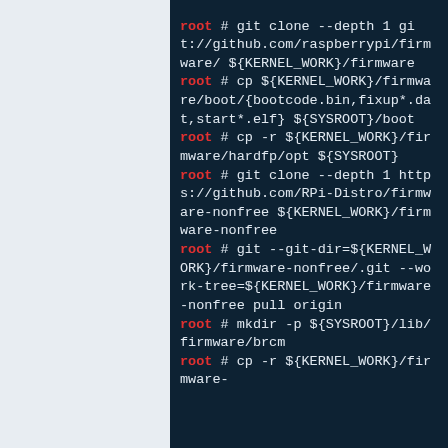[Figure (screenshot): Terminal/code block showing a series of shell commands for Raspberry Pi firmware setup, with 'root' in red and command text in light color on dark teal/navy background.]